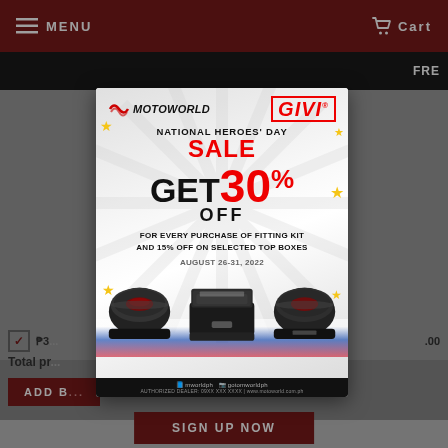MENU   Cart
[Figure (infographic): Motoworld x GIVI National Heroes Day Sale popup ad. GET 30% OFF for every purchase of fitting kit and 15% off on selected top boxes. August 26-31, 2022. Shows three GIVI top box products with Philippine flag decoration.]
METZ... ROAD... (L)
₱3... .00
Total pr...
ADD B...
SIGN UP NOW